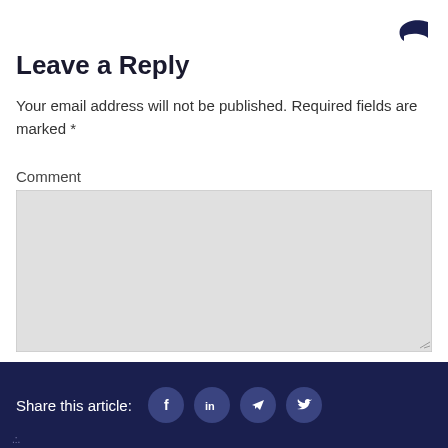[Figure (illustration): Dark navy reply/share arrow icon in top right corner]
Leave a Reply
Your email address will not be published. Required fields are marked *
Comment
[Figure (other): Large light grey comment text area input box]
Share this article: [Facebook] [LinkedIn] [Telegram] [Twitter]